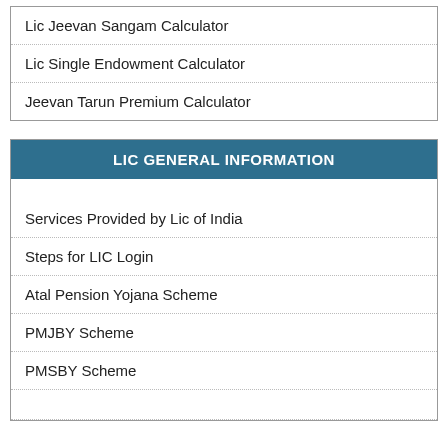Lic Jeevan Sangam Calculator
Lic Single Endowment Calculator
Jeevan Tarun Premium Calculator
LIC GENERAL INFORMATION
Services Provided by Lic of India
Steps for LIC Login
Atal Pension Yojana Scheme
PMJBY Scheme
PMSBY Scheme